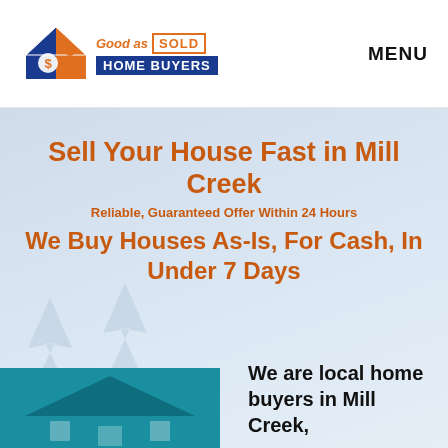[Figure (logo): Good as Sold Home Buyers logo with blue house icon and orange dollar sign, 'Good as SOLD' text in orange with SOLD in a box, 'HOME BUYERS' in white on blue banner]
MENU
Sell Your House Fast in Mill Creek
Reliable, Guaranteed Offer Within 24 Hours
We Buy Houses As-Is, For Cash, In Under 7 Days
[Figure (illustration): Teal/dark cyan house illustration card at the bottom left]
We are local home buyers in Mill Creek,